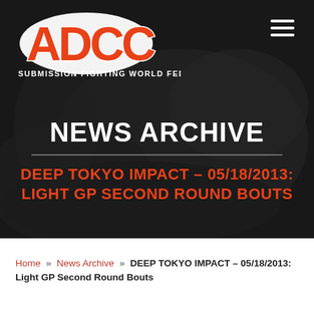[Figure (screenshot): ADCC Submission Fighting World Federation logo on dark hero background with martial arts fighters]
NEWS ARCHIVE
DEEP TOKYO IMPACT – 05/18/2013: LIGHT GP SECOND ROUND BOUTS
Home » News Archive » DEEP TOKYO IMPACT – 05/18/2013: Light GP Second Round Bouts